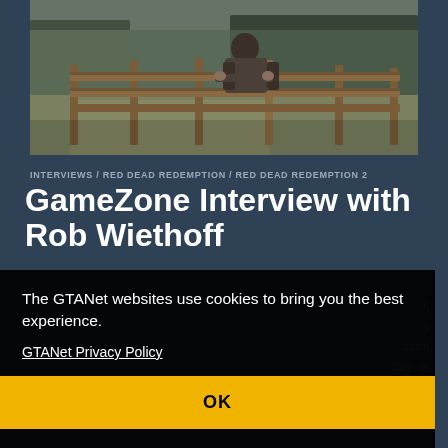[Figure (photo): A person leaning on a wooden fence in a rural landscape with trees in the background, from Red Dead Redemption 2]
INTERVIEWS / RED DEAD REDEMPTION / RED DEAD REDEMPTION 2
GameZone Interview with Rob Wiethoff
The GTANet websites use cookies to bring you the best experience.
GTANet Privacy Policy
OK